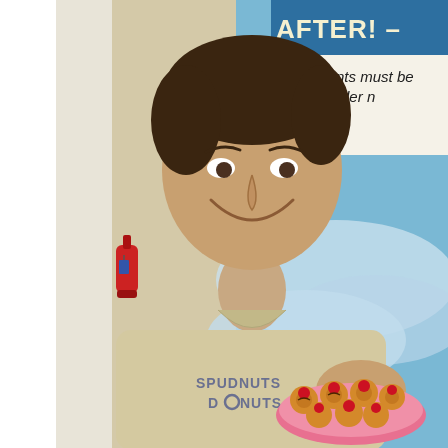[Figure (photo): A smiling man wearing a light beige t-shirt that reads 'SPUDNUTS DONUTS' holding a pink plate filled with small round pastries topped with cherries and chocolate. In the background is a blue and white mural and a sign reading 'AFTER! – Recipients must be 18 or older n— No Exc' and a red fire extinguisher.]